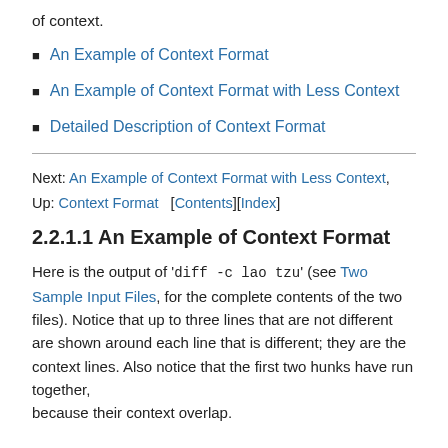of context.
An Example of Context Format
An Example of Context Format with Less Context
Detailed Description of Context Format
Next: An Example of Context Format with Less Context,
Up: Context Format   [Contents][Index]
2.2.1.1 An Example of Context Format
Here is the output of 'diff -c lao tzu' (see Two Sample Input Files, for the complete contents of the two files). Notice that up to three lines that are not different are shown around each line that is different; they are the context lines. Also notice that the first two hunks have run together, because their context overlap.